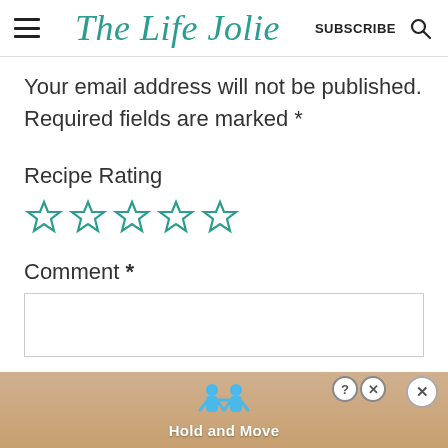The Life Jolie | SUBSCRIBE
Your email address will not be published. Required fields are marked *
Recipe Rating
[Figure (other): Five empty star rating icons in teal/green outline style]
Comment *
[Figure (screenshot): Advertisement banner showing blue cartoon figures with text 'Hold and Move']